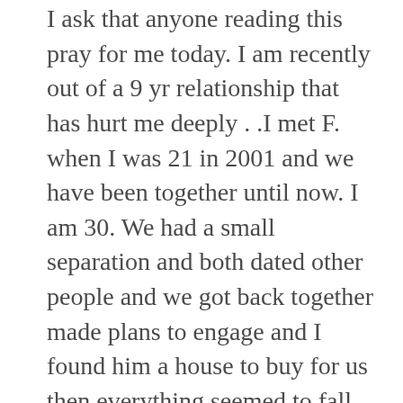I ask that anyone reading this pray for me today. I am recently out of a 9 yr relationship that has hurt me deeply . .I met F. when I was 21 in 2001 and we have been together until now. I am 30. We had a small separation and both dated other people and we got back together made plans to engage and I found him a house to buy for us then everything seemed to fall apart. He wasn't the greatest bf but he was my bf. I loved him very much and respected our history. I really at this point want to try and move on bec he is seeing other women and drinks a lot. But I feel so hurt and empty. I need prayer for God to heal my broken heart. And send me my match from the heavens have the angels take charge over me. I need restoration of my self esteem and confidence. I pray for a mate who is a good provider and builds me up. A strong and sensitive man with family values and integrity . A